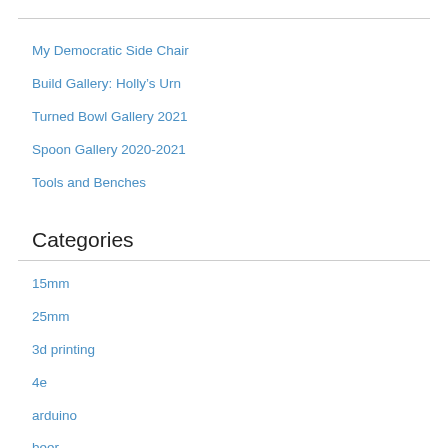My Democratic Side Chair
Build Gallery: Holly’s Urn
Turned Bowl Gallery 2021
Spoon Gallery 2020-2021
Tools and Benches
Categories
15mm
25mm
3d printing
4e
arduino
beer